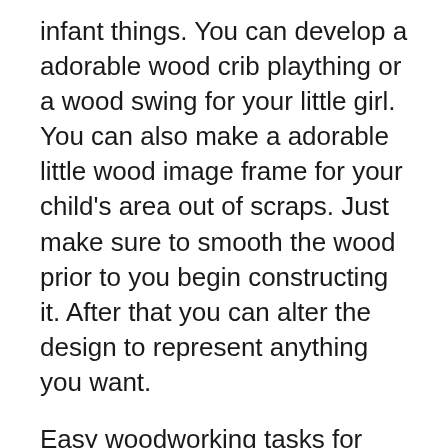infant things. You can develop a adorable wood crib plaything or a wood swing for your little girl. You can also make a adorable little wood image frame for your child's area out of scraps. Just make sure to smooth the wood prior to you begin constructing it. After that you can alter the design to represent anything you want.
Easy woodworking tasks for kids
Whether you're searching for a method to obtain your youngsters associated with a purposeful task or simply intend to reveal them that you care, there are lots of easy woodworking jobs for children to consider. Woodworking jobs are fun and also engaging for youngsters, and also they can develop